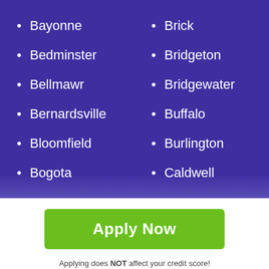Bayonne
Brick
Bedminster
Bridgeton
Bellmawr
Bridgewater
Bernardsville
Buffalo
Bloomfield
Burlington
Bogota
Caldwell
Apply Now
Applying does NOT affect your credit score! No credit check to apply.